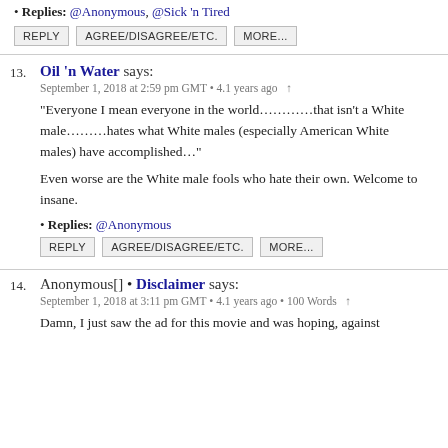Replies: @Anonymous, @Sick 'n Tired
REPLY   AGREE/DISAGREE/ETC.   MORE...
13.  Oil 'n Water says:
September 1, 2018 at 2:59 pm GMT • 4.1 years ago  ↑
“Everyone I mean everyone in the world…………that isn’t a White male………hates what White males (especially American White males) have accomplished…”

Even worse are the White male fools who hate their own. Welcome to insane.
Replies: @Anonymous
REPLY   AGREE/DISAGREE/ETC.   MORE...
14.  Anonymous[] • Disclaimer says:
September 1, 2018 at 3:11 pm GMT • 4.1 years ago • 100 Words  ↑
Damn, I just saw the ad for this movie and was hoping, against